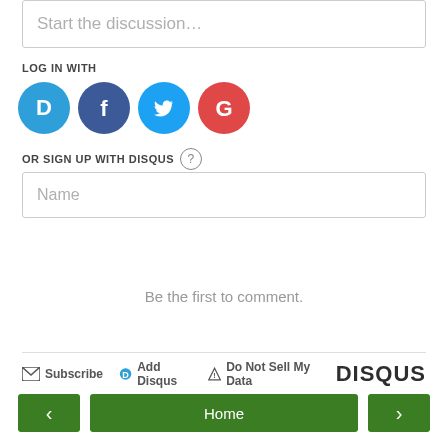Start the discussion…
LOG IN WITH
[Figure (illustration): Four social login icon circles: Disqus (blue D), Facebook (dark blue f), Twitter (light blue bird), Google (red G)]
OR SIGN UP WITH DISQUS ?
Name
Be the first to comment.
Subscribe  Add Disqus  Do Not Sell My Data  DISQUS
‹  Home  ›